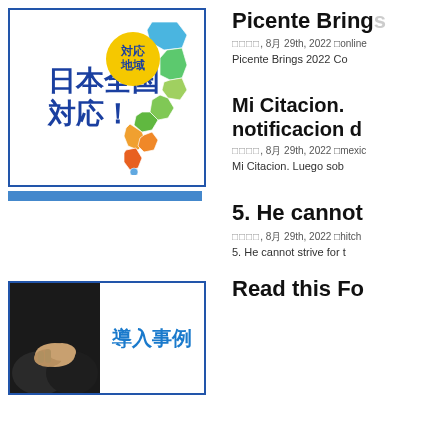[Figure (illustration): Japanese map graphic with text '日本全国対応！' in blue bold, a yellow circle with '対応地域', and a colorful map of Japan on the right side]
[Figure (photo): A narrow blue strip/bar below the Japan map image]
Picente Bring
月月月月, 8月 29th, 2022 月online
Picente Brings 2022 Co
Mi Citacion. notificacion d
月月月月, 8月 29th, 2022 月mexic
Mi Citacion. Luego sob
5. He cannot
月月月月, 8月 29th, 2022 月hitch
5. He cannot strive for t
[Figure (photo): Handshake photo on left with blue Japanese text '導入事例' on the right inside a blue-bordered box]
Read this Fo